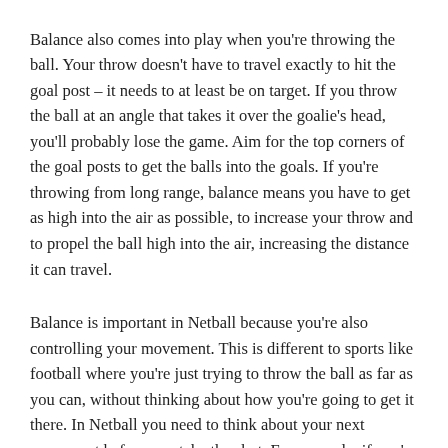Balance also comes into play when you're throwing the ball. Your throw doesn't have to travel exactly to hit the goal post – it needs to at least be on target. If you throw the ball at an angle that takes it over the goalie's head, you'll probably lose the game. Aim for the top corners of the goal posts to get the balls into the goals. If you're throwing from long range, balance means you have to get as high into the air as possible, to increase your throw and to propel the ball high into the air, increasing the distance it can travel.
Balance is important in Netball because you're also controlling your movement. This is different to sports like football where you're just trying to throw the ball as far as you can, without thinking about how you're going to get it there. In Netball you need to think about your next movement before you take the shot. For example, if you're trying to pass to the open side, don't just throw to